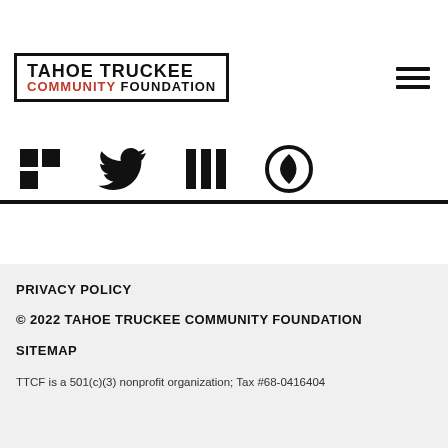[Figure (logo): Tahoe Truckee Community Foundation logo with black border box, COMMUNITY in red]
[Figure (illustration): Hamburger menu icon (three horizontal lines) in top right]
[Figure (illustration): Social media icons row: Facebook, Twitter/X, LinkedIn, YouTube]
PRIVACY POLICY
© 2022 TAHOE TRUCKEE COMMUNITY FOUNDATION
SITEMAP
TTCF is a 501(c)(3) nonprofit organization; Tax #68-0416404